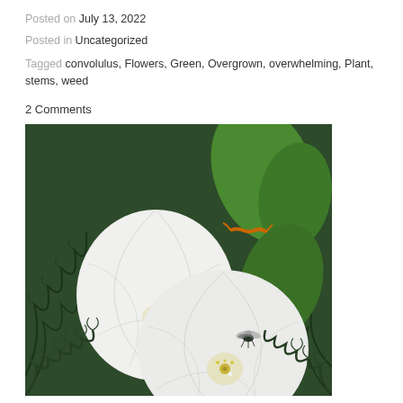Posted on July 13, 2022
Posted in Uncategorized
Tagged convolulus, Flowers, Green, Overgrown, overwhelming, Plant, stems, weed
2 Comments
[Figure (photo): Two large white trumpet-shaped flowers (convolulus/bindweed) surrounded by dark green fern fronds and leaves, with a small fly visible on one of the flowers.]